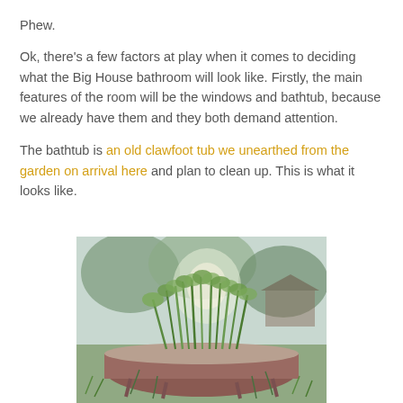Phew.
Ok, there's a few factors at play when it comes to deciding what the Big House bathroom will look like. Firstly, the main features of the room will be the windows and bathtub, because we already have them and they both demand attention.
The bathtub is an old clawfoot tub we unearthed from the garden on arrival here and plan to clean up. This is what it looks like.
[Figure (photo): An old rusty clawfoot bathtub sitting outdoors in a garden, overgrown with tall green grass and weeds growing out of it. Trees and a shed are visible in the background.]